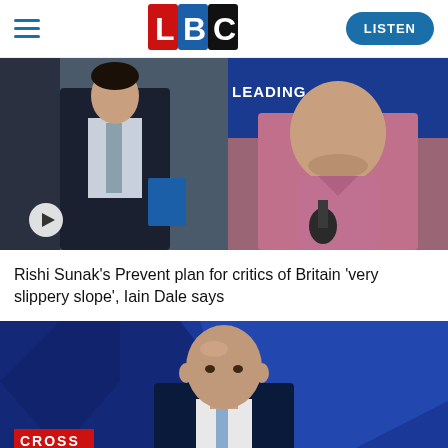[Figure (logo): LBC radio logo with L in red, B in blue, C in black/white squares]
[Figure (screenshot): Screenshot of LBC website showing hamburger menu, LBC logo, Listen button, two news images side by side (Rishi Sunak in dark suit with blue folder, and Iain Dale speaking with LEADING banner), article headline, and bottom banner image of a bald man with CROSS text]
Rishi Sunak's Prevent plan for critics of Britain 'very slippery slope', Iain Dale says